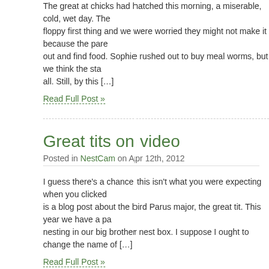The great at chicks had hatched this morning, a miserable, cold, wet day. The floppy first thing and we were worried they might not make it because the pare out and find food. Sophie rushed out to buy meal worms, but we think the sta all. Still, by this […]
Read Full Post »
Great tits on video
Posted in NestCam on Apr 12th, 2012
I guess there's a chance this isn't what you were expecting when you clicked is a blog post about the bird Parus major, the great tit. This year we have a pa nesting in our big brother nest box. I suppose I ought to change the name of […]
Read Full Post »
Bye bye birdies
Posted in Garden, NestCam on May 27th, 2010